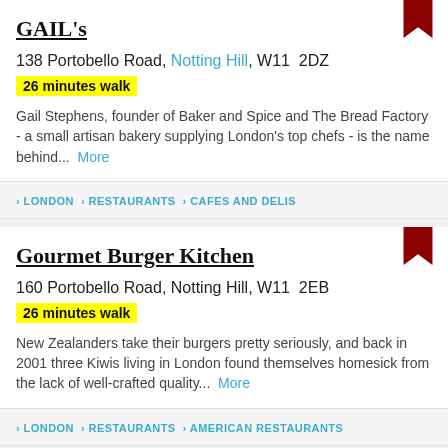GAIL's
138 Portobello Road, Notting Hill, W11 2DZ
26 minutes walk
Gail Stephens, founder of Baker and Spice and The Bread Factory - a small artisan bakery supplying London's top chefs - is the name behind... More
> LONDON > RESTAURANTS > CAFES AND DELIS
Gourmet Burger Kitchen
160 Portobello Road, Notting Hill, W11 2EB
26 minutes walk
New Zealanders take their burgers pretty seriously, and back in 2001 three Kiwis living in London found themselves homesick from the lack of well-crafted quality... More
> LONDON > RESTAURANTS > AMERICAN RESTAURANTS